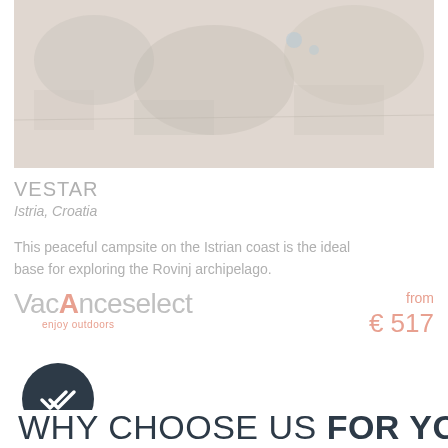[Figure (photo): Aerial or overhead photo of a campsite with trees and facilities, shown faded/light]
VESTAR
Istria, Croatia
This peaceful campsite on the Istrian coast is the ideal base for exploring the Rovinj archipelago.
[Figure (logo): Vacanceselect logo with 'enjoy outdoors' tagline]
from € 517
[Figure (infographic): Dark circular badge with double checkmark icon]
WHY CHOOSE US FOR YOUR